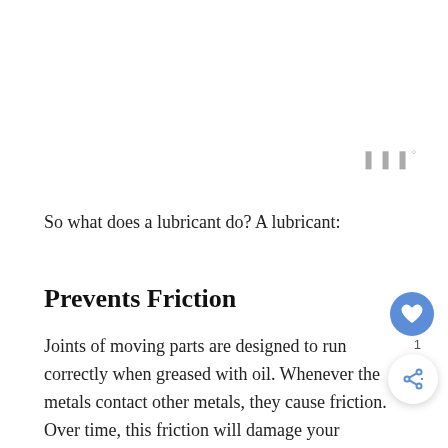So what does a lubricant do? A lubricant:
Prevents Friction
Joints of moving parts are designed to run correctly when greased with oil. Whenever the metals contact other metals, they cause friction. Over time, this friction will damage your mower, significantly reducing the lifespan of its various parts.